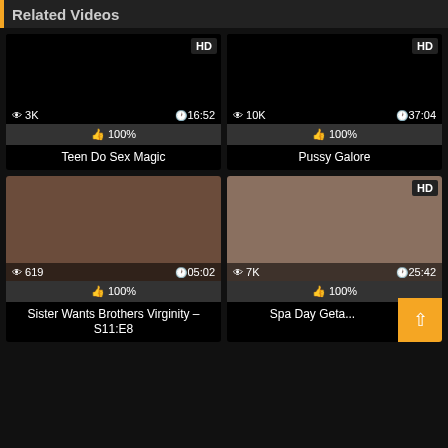Related Videos
[Figure (screenshot): Video thumbnail - black/dark, HD badge, views: 3K, duration: 16:52, 100% likes, title: Teen Do Sex Magic]
[Figure (screenshot): Video thumbnail - black/dark, HD badge, views: 10K, duration: 37:04, 100% likes, title: Pussy Galore]
[Figure (photo): Video thumbnail - group of young women, views: 619, duration: 05:02, 100% likes, title: Sister Wants Brothers Virginity – S11:E8]
[Figure (photo): Video thumbnail - two women, HD badge, views: 7K, duration: 25:42, 100% likes, title: Spa Day Geta...]